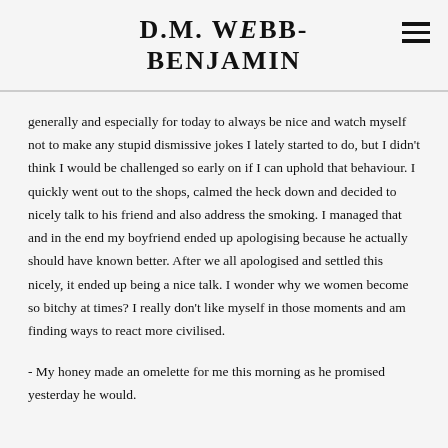D.M. WEBB-BENJAMIN
generally and especially for today to always be nice and watch myself not to make any stupid dismissive jokes I lately started to do, but I didn't think I would be challenged so early on if I can uphold that behaviour. I quickly went out to the shops, calmed the heck down and decided to nicely talk to his friend and also address the smoking. I managed that and in the end my boyfriend ended up apologising because he actually should have known better. After we all apologised and settled this nicely, it ended up being a nice talk. I wonder why we women become so bitchy at times? I really don't like myself in those moments and am finding ways to react more civilised.
- My honey made an omelette for me this morning as he promised yesterday he would.